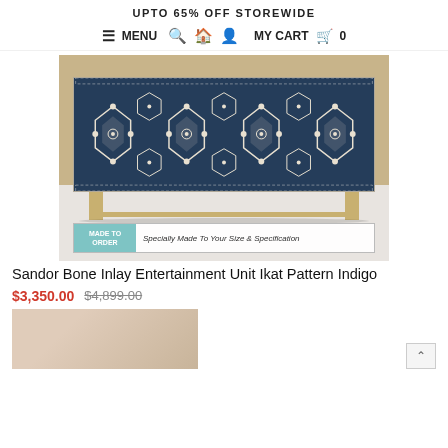UPTO 65% OFF STOREWIDE
≡ MENU  🔍  🏠  👤  MY CART  🛒  0
[Figure (photo): A bone inlay entertainment unit sideboard with indigo ikat pattern on blue background, resting on gold/brass legs, against a warm beige wall. A 'MADE TO ORDER – Specially Made To Your Size & Specification' banner is overlaid at the bottom of the image.]
Sandor Bone Inlay Entertainment Unit Ikat Pattern Indigo
$3,350.00  $4,899.00
[Figure (photo): Partial view of a second product image showing a warm beige/tan background, likely another angle of the sideboard.]